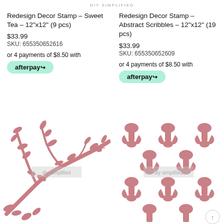DIY SIMPLIFIED
Redesign Decor Stamp – Sweet Tea – 12"x12" (9 pcs)
$33.99
SKU: 655350652616
or 4 payments of $8.50 with afterpay
Redesign Decor Stamp – Abstract Scribbles – 12"x12" (19 pcs)
$33.99
SKU: 655350652609
or 4 payments of $8.50 with afterpay
[Figure (illustration): Pink/dusty rose botanical branch and leaves stamp pattern on white background with watermark overlay]
[Figure (illustration): Pink/dusty rose damask ornamental repeat pattern stamp on white background with watermark overlay]